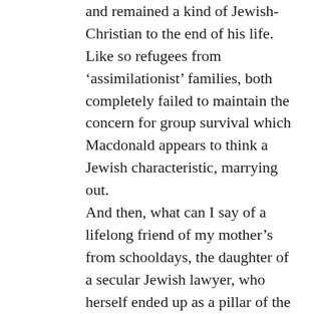and remained a kind of Jewish-Christian to the end of his life. Like so refugees from 'assimilationist' families, both completely failed to maintain the concern for group survival which Macdonald appears to think a Jewish characteristic, marrying out. And then, what can I say of a lifelong friend of my mother's from schooldays, the daughter of a secular Jewish lawyer, who herself ended up as a pillar of the Russian Orthodox Cathedral in Kensington? I vividly remember their house, with the walls covered in prints of the St. Petersburg which the father had left in the Civil War, leaving his coat on the door, before finally making it over here through Crimea. My 'few remarks' have got longer than I intended. What is important is that the kind of 'tribalism'